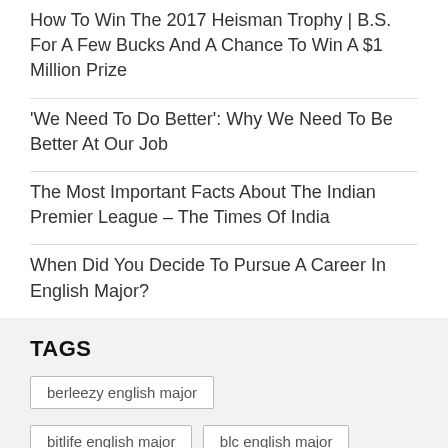How To Win The 2017 Heisman Trophy | B.S. For A Few Bucks And A Chance To Win A $1 Million Prize
'We Need To Do Better': Why We Need To Be Better At Our Job
The Most Important Facts About The Indian Premier League – The Times Of India
When Did You Decide To Pursue A Career In English Major?
TAGS
berleezy english major
bitlife english major
blc english major